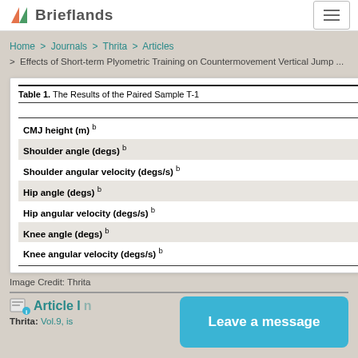Brieflands
Home > Journals > Thrita > Articles > Effects of Short-term Plyometric Training on Countermovement Vertical Jump ...
Table 1. The Results of the Paired Sample T-1
|  |
| --- |
| CMJ height (m) b |
| Shoulder angle (degs) b |
| Shoulder angular velocity (degs/s) b |
| Hip angle (degs) b |
| Hip angular velocity (degs/s) b |
| Knee angle (degs) b |
| Knee angular velocity (degs/s) b |
Image Credit: Thrita
Article I...
Thrita: Vol.9, is...